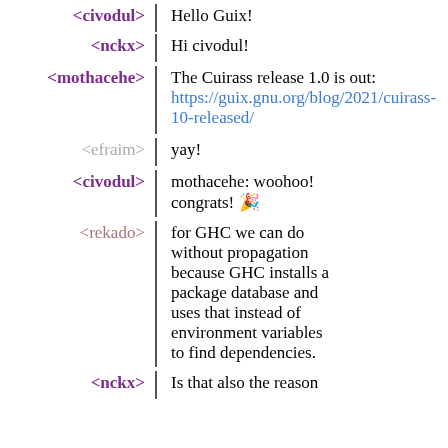<civodul> | Hello Guix!
<nckx> | Hi civodul!
<mothacehe> | The Cuirass release 1.0 is out: https://guix.gnu.org/blog/2021/cuirass-10-released/
<efraim> | yay!
<civodul> | mothacehe: woohoo! congrats! 🎉
<rekado> | for GHC we can do without propagation because GHC installs a package database and uses that instead of environment variables to find dependencies.
<nckx> | Is that also the reason